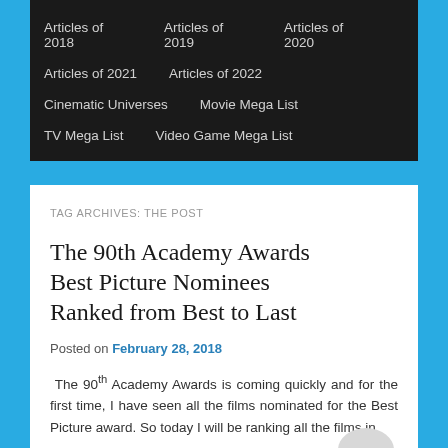Articles of 2018
Articles of 2019
Articles of 2020
Articles of 2021
Articles of 2022
Cinematic Universes
Movie Mega List
TV Mega List
Video Game Mega List
TAG ARCHIVES: THE POST
The 90th Academy Awards Best Picture Nominees Ranked from Best to Last
Posted on February 28, 2018
The 90th Academy Awards is coming quickly and for the first time, I have seen all the films nominated for the Best Picture award. So today I will be ranking all the films in